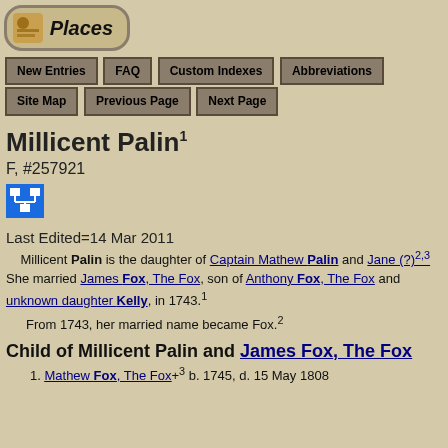[Figure (logo): Places logo with icon and rounded rectangle border]
New Entries | FAQ | Custom Indexes | Abbreviations | Site Map | Previous Page | Next Page
Millicent Palin1
F, #257921
[Figure (other): Blue tree/relationship icon button]
Last Edited=14 Mar 2011
Millicent Palin is the daughter of Captain Mathew Palin and Jane (?)2,3 She married James Fox, The Fox, son of Anthony Fox, The Fox and unknown daughter Kelly, in 1743.1
From 1743, her married name became Fox.2
Child of Millicent Palin and James Fox, The Fox
1. Mathew Fox, The Fox+3 b. 1745, d. 15 May 1808